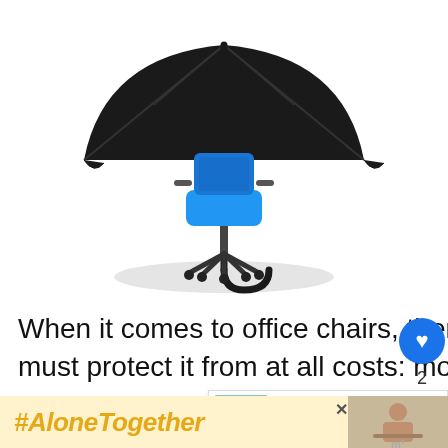[Figure (illustration): An office chair sitting under a large open black umbrella, protecting it from moisture. The image has a white/light gray background with a subtle shadow beneath the chair and umbrella.]
When it comes to office chairs, there’s one enemy that you must protect it from at all costs: moisture.
Getting your office chair wet can cause damage to its materials if not addressed quickly.
[Figure (screenshot): What's Next widget showing a thumbnail image and title 'Why Does My Chair Get W...' with a red arrow label 'WHAT’S NEXT →']
[Figure (infographic): Ad banner with yellow background showing hashtag #AloneTogether in orange italic bold text, with an X close button and a photo of a woman on the right side]